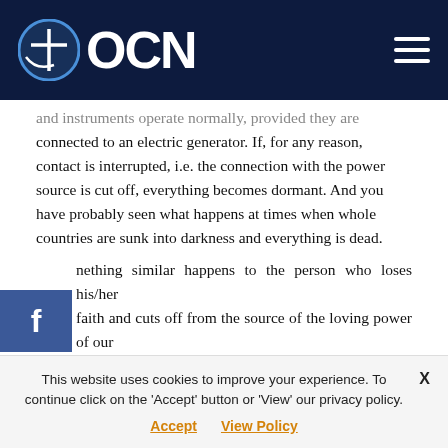OCN
and instruments operate normally, provided they are connected to an electric generator. If, for any reason, contact is interrupted, i.e. the connection with the power source is cut off, everything becomes dormant. And you have probably seen what happens at times when whole countries are sunk into darkness and everything is dead.
Something similar happens to the person who loses his/her faith and cuts off from the source of the loving power of our Lord and God Jesus Christ. He/she is deadened spiritually.
That is why Apostle Paul sounds the alarm: "Examine yourselves as to weather you are in the faith. Test
This website uses cookies to improve your experience. To continue click on the 'Accept' button or 'View' our privacy policy. Accept  View Policy